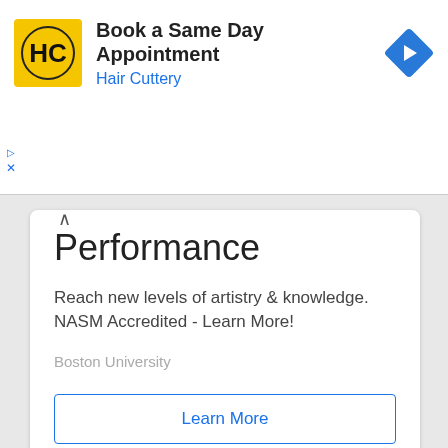[Figure (screenshot): Hair Cuttery advertisement banner with yellow HC logo, text 'Book a Same Day Appointment' and 'Hair Cuttery' in blue, and a blue navigation diamond icon on the right]
Performance
Reach new levels of artistry & knowledge. NASM Accredited - Learn More!
Boston University
Learn More